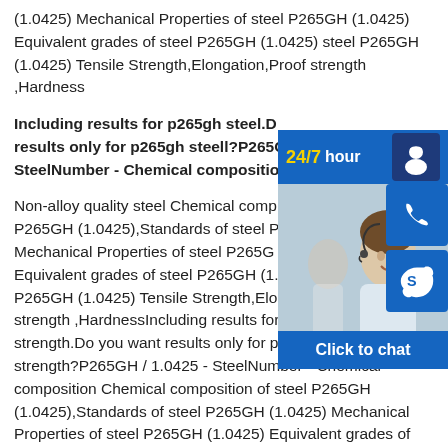(1.0425) Mechanical Properties of steel P265GH (1.0425) Equivalent grades of steel P265GH (1.0425) steel P265GH (1.0425) Tensile Strength,Elongation,Proof strength ,Hardness
Including results for p265gh steel.Do you want results only for p265gh steell?P265GH / 1.0425 - SteelNumber - Chemical composition
Non-alloy quality steel Chemical composition of steel P265GH (1.0425),Standards of steel P265GH (1.0425) Mechanical Properties of steel P265GH (1.0425) Equivalent grades of steel P265GH (1.0425) steel P265GH (1.0425) Tensile Strength,Elongation,Proof strength ,HardnessIncluding results for p265gh tensile strength.Do you want results only for p265gh tbensile strength?P265GH / 1.0425 - SteelNumber - Chemical composition Chemical composition of steel P265GH (1.0425),Standards of steel P265GH (1.0425) Mechanical Properties of steel P265GH (1.0425) Equivalent grades of
[Figure (other): Customer support widget with 24/7 hour header, photo of smiling female customer service representative, phone icon, Skype icon, and 'Click to chat' button]